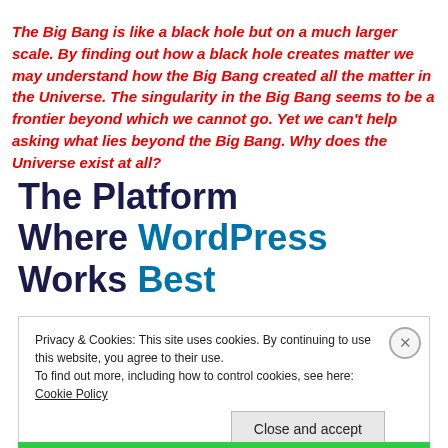The Big Bang is like a black hole but on a much larger scale. By finding out how a black hole creates matter we may understand how the Big Bang created all the matter in the Universe. The singularity in the Big Bang seems to be a frontier beyond which we cannot go. Yet we can't help asking what lies beyond the Big Bang. Why does the Universe exist at all?
The Platform Where WordPress Works Best
Privacy & Cookies: This site uses cookies. By continuing to use this website, you agree to their use. To find out more, including how to control cookies, see here: Cookie Policy